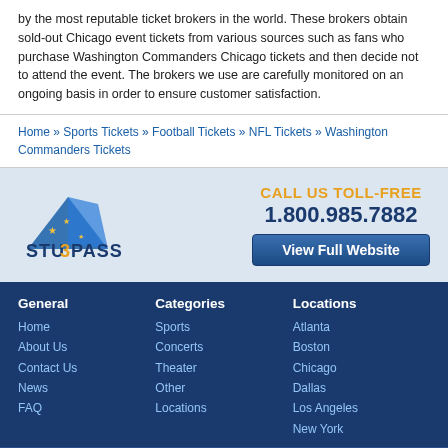by the most reputable ticket brokers in the world. These brokers obtain sold-out Chicago event tickets from various sources such as fans who purchase Washington Commanders Chicago tickets and then decide not to attend the event. The brokers we use are carefully monitored on an ongoing basis in order to ensure customer satisfaction.
Home » Sports Tickets » Football Tickets » NFL Tickets » Washington Commanders Tickets
[Figure (logo): StubPass logo - stylized shark fin with stars and text STUBPASS]
CALL US TOLL-FREE 1.800.985.7882 View Full Website
General - Home, About Us, Contact Us, News, FAQ
Categories - Sports, Concerts, Theater, Other, Locations
Locations - Atlanta, Boston, Chicago, Dallas, Los Angeles, New York
©2022 StubPass.com. All rights reserved. Use of this website signifies your agreement to the StubPass.com User Agreement and Privacy Policy.